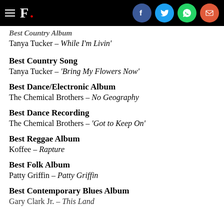F.
Best Country Album
Tanya Tucker – While I'm Livin'
Best Country Song
Tanya Tucker – 'Bring My Flowers Now'
Best Dance/Electronic Album
The Chemical Brothers – No Geography
Best Dance Recording
The Chemical Brothers – 'Got to Keep On'
Best Reggae Album
Koffee – Rapture
Best Folk Album
Patty Griffin – Patty Griffin
Best Contemporary Blues Album
Gary Clark Jr. – This Land